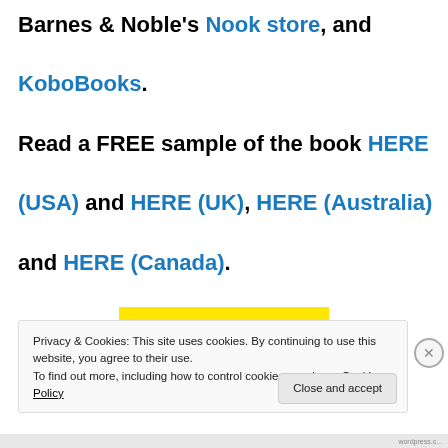Barnes & Noble's Nook store, and KoboBooks. Read a FREE sample of the book HERE (USA) and HERE (UK), HERE (Australia) and HERE (Canada).
[Figure (other): Yellow banner with italic quote text partially visible]
Privacy & Cookies: This site uses cookies. By continuing to use this website, you agree to their use. To find out more, including how to control cookies, see here: Cookie Policy
Close and accept